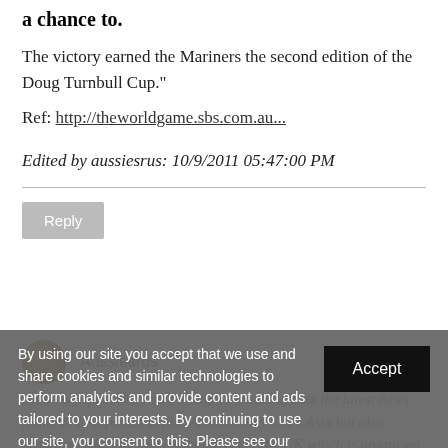a chance to.
The victory earned the Mariners the second edition of the Doug Turnbull Cup."
Ref: http://theworldgame.sbs.com.au...
Edited by aussiesrus: 10/9/2011 05:47:00 PM
Reply
Aussiesrus
been very quiet there so I thought I would update the latest news from ASA. As posted before ASA not only tours Asia but also organises trials for top ASA students in the UK which is organised by our UK football group. Last year
By using our site you accept that we use and share cookies and similar technologies to perform analytics and provide content and ads tailored to your interests. By continuing to use our site, you consent to this. Please see our Cookie Policy for more information.
Accept